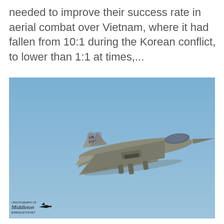needed to improve their success rate in aerial combat over Vietnam, where it had fallen from 10:1 during the Korean conflict, to lower than 1:1 at times,...
[Figure (photo): Military fighter jet (F-15 Eagle, tail number LN 493 -027) flying in a clear blue sky, viewed from the side/below. A photographer watermark reading 'Photography of Middleton / ENMIDDLETON.NET' with a silhouette of a jet is visible in the lower left corner of the photo.]